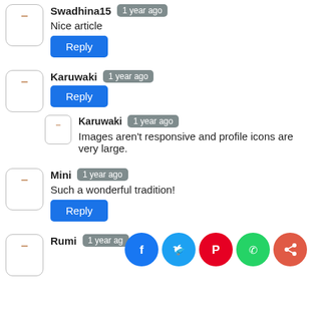Swadhina15  1 year ago
Nice article
[Reply]
Karuwaki  1 year ago
[Reply]
Karuwaki  1 year ago
Images aren't responsive and profile icons are very large.
Mini  1 year ago
Such a wonderful tradition!
[Reply]
Rumi  1 year ago